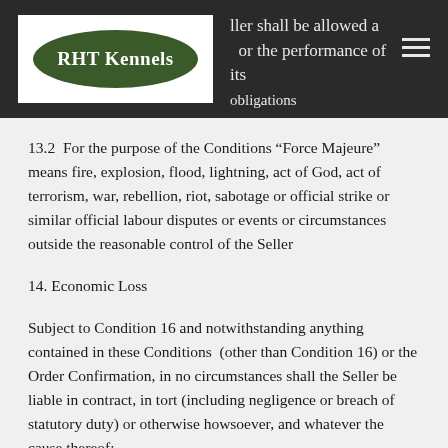Seller shall be allowed a [reasonable time] for the performance of its obligations
13.2  For the purpose of the Conditions “Force Majeure” means fire, explosion, flood, lightning, act of God, act of terrorism, war, rebellion, riot, sabotage or official strike or similar official labour disputes or events or circumstances outside the reasonable control of the Seller
14. Economic Loss
Subject to Condition 16 and notwithstanding anything contained in these Conditions  (other than Condition 16) or the Order Confirmation, in no circumstances shall the Seller be liable in contract, in tort (including negligence or breach of statutory duty) or otherwise howsoever, and whatever the cause thereof: